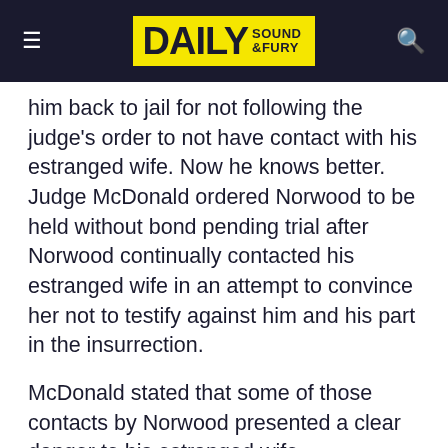DAILY SOUND & FURY
him back to jail for not following the judge's order to not have contact with his estranged wife. Now he knows better. Judge McDonald ordered Norwood to be held without bond pending trial after Norwood continually contacted his estranged wife in an attempt to convince her not to testify against him and his part in the insurrection.
McDonald stated that some of those contacts by Norwood presented a clear danger to his estranged wife.
NORWOOD DIDN'T DENY CONTACTING